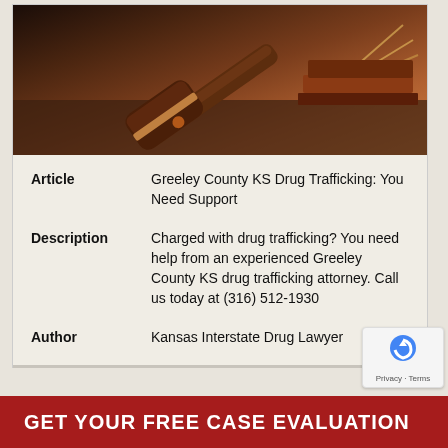[Figure (photo): Photo of a wooden judge's gavel resting near law books on a wooden surface, warm tones with orange/brown hues]
| Article | Greeley County KS Drug Trafficking: You Need Support |
| Description | Charged with drug trafficking? You need help from an experienced Greeley County KS drug trafficking attorney. Call us today at (316) 512-1930 |
| Author | Kansas Interstate Drug Lawyer |
[Figure (logo): Kansas Interstate Drug Lawyer logo banner with scales of justice icon, interstate highway shield, and text KANSAS INTERSTATE DRUG LAWYER in white on gray background]
GET YOUR FREE CASE EVALUATION